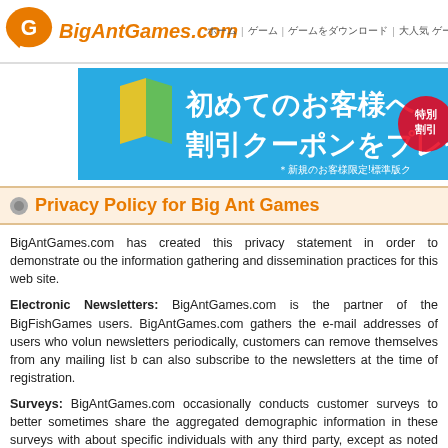BigAntGames.com  ホーム | ゲーム | ゲームをダウンロード | 大人気ゲーム | ゲームのジャンル
[Figure (screenshot): Japanese language promotional banner on blue background with text: 初めてのお客様へ 割引クーポンをプレゼント *新規のお客様限定!標準版ク]
Privacy Policy for Big Ant Games
BigAntGames.com has created this privacy statement in order to demonstrate our commitment to the information gathering and dissemination practices for this web site.
Electronic Newsletters: BigAntGames.com is the partner of the BigFishGames users. BigAntGames.com gathers the e-mail addresses of users who voluntarily newsletters periodically, customers can remove themselves from any mailing list b can also subscribe to the newsletters at the time of registration.
Surveys: BigAntGames.com occasionally conducts customer surveys to better sometimes share the aggregated demographic information in these surveys with about specific individuals with any third party, except as noted previously.